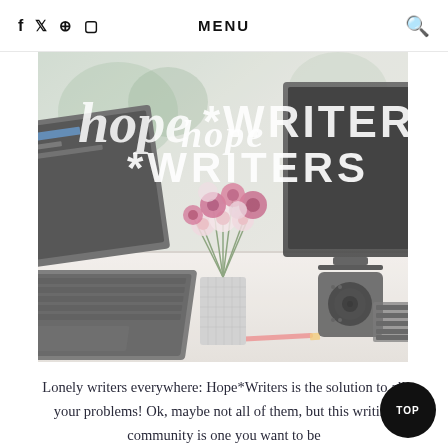f  ✦  ◎  □   MENU   🔍
[Figure (photo): A stylized desk scene with a laptop on the left, a vase of pink and magenta flowers in a mesh container in the center, a black speaker on the right, and a keyboard in the far right. White handwritten text overlay reads 'hope*WRITERS' across the top of the image. The image has a soft, desaturated pastel tone.]
Lonely writers everywhere: Hope*Writers is the solution to all your problems! Ok, maybe not all of them, but this writing community is one you want to be